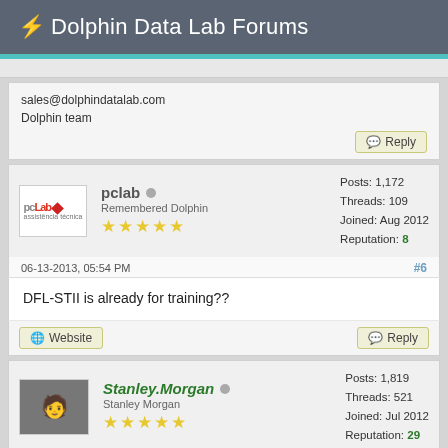⚡ Dolphin Data Lab Forums
sales@dolphindatalab.com
Dolphin team
pclab
Remembered Dolphin
Posts: 1,172
Threads: 109
Joined: Aug 2012
Reputation: 8
06-13-2013, 05:54 PM
#6
DFL-STII is already for training??
Stanley.Morgan
Stanley Morgan
Posts: 1,819
Threads: 521
Joined: Jul 2012
Reputation: 29